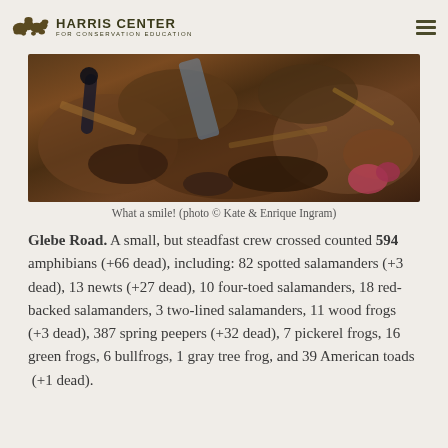Harris Center for Conservation Education
[Figure (photo): Close-up photo of salamanders and amphibians on forest floor with leaves and rocks]
What a smile! (photo © Kate & Enrique Ingram)
Glebe Road. A small, but steadfast crew crossed counted 594 amphibians (+66 dead), including: 82 spotted salamanders (+3 dead), 13 newts (+27 dead), 10 four-toed salamanders, 18 red-backed salamanders, 3 two-lined salamanders, 11 wood frogs (+3 dead), 387 spring peepers (+32 dead), 7 pickerel frogs, 16 green frogs, 6 bullfrogs, 1 gray tree frog, and 39 American toads  (+1 dead).